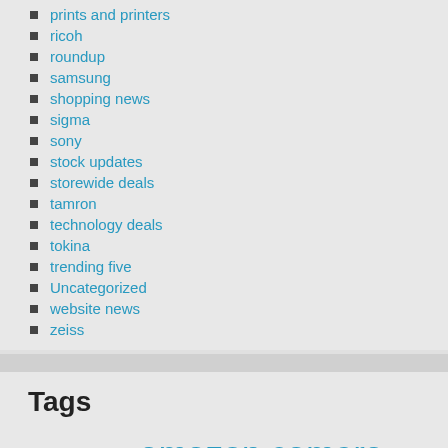prints and printers
ricoh
roundup
samsung
shopping news
sigma
sony
stock updates
storewide deals
tamron
technology deals
tokina
trending five
Uncategorized
website news
zeiss
Tags
action camera deals amazon camera deals camera bags camera bundles canon cameras